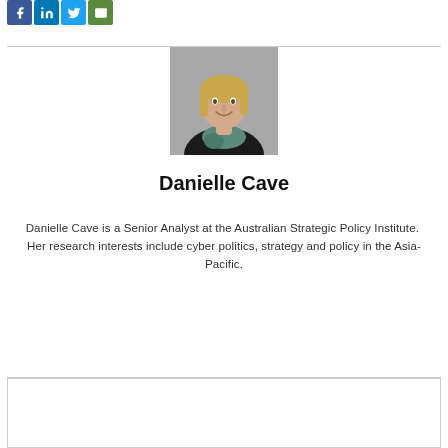[Figure (other): Social media sharing icons: Facebook (blue), LinkedIn (blue), Twitter (light blue), Email (green)]
[Figure (photo): Headshot of Danielle Cave, a woman with blonde hair and a scarf, smiling, against a grey background]
Danielle Cave
Danielle Cave is a Senior Analyst at the Australian Strategic Policy Institute.  Her research interests include cyber politics, strategy and policy in the Asia-Pacific.